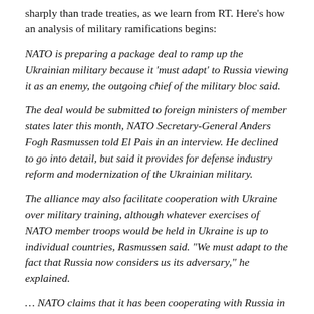sharply than trade treaties, as we learn from RT. Here's how an analysis of military ramifications begins:
NATO is preparing a package deal to ramp up the Ukrainian military because it 'must adapt' to Russia viewing it as an enemy, the outgoing chief of the military bloc said.
The deal would be submitted to foreign ministers of member states later this month, NATO Secretary-General Anders Fogh Rasmussen told El Pais in an interview. He declined to go into detail, but said it provides for defense industry reform and modernization of the Ukrainian military.
The alliance may also facilitate cooperation with Ukraine over military training, although whatever exercises of NATO member troops would be held in Ukraine is up to individual countries, Rasmussen said. "We must adapt to the fact that Russia now considers us its adversary," he explained.
… NATO claims that it has been cooperating with Russia in